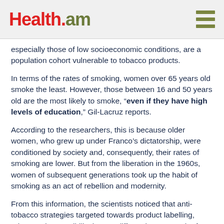Health.am
especially those of low socioeconomic conditions, are a population cohort vulnerable to tobacco products.
In terms of the rates of smoking, women over 65 years old smoke the least. However, those between 16 and 50 years old are the most likely to smoke, “even if they have high levels of education,” Gil-Lacruz reports.
According to the researchers, this is because older women, who grew up under Franco’s dictatorship, were conditioned by society and, consequently, their rates of smoking are lower. But from the liberation in the 1960s, women of subsequent generations took up the habit of smoking as an act of rebellion and modernity.
From this information, the scientists noticed that anti-tobacco strategies targeted towards product labelling, prices and accessibility impact differently upon each of these generation cohorts.